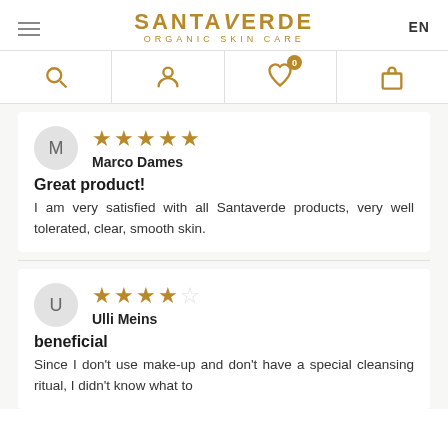SANTAVERDE ORGANIC SKIN CARE
[Figure (screenshot): Navigation icon bar with search, account, wishlist (0), and shopping bag icons]
Marco Dames
★★★★★
Great product!
I am very satisfied with all Santaverde products, very well tolerated, clear, smooth skin.
Ulli Meins
★★★★☆
beneficial
Since I don't use make-up and don't have a special cleansing ritual, I didn't know what to